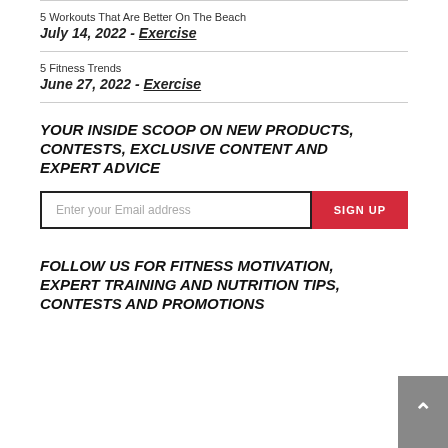5 Workouts That Are Better On The Beach
July 14, 2022 - Exercise
5 Fitness Trends
June 27, 2022 - Exercise
YOUR INSIDE SCOOP ON NEW PRODUCTS, CONTESTS, EXCLUSIVE CONTENT AND EXPERT ADVICE
Enter your Email address [SIGN UP button]
FOLLOW US FOR FITNESS MOTIVATION, EXPERT TRAINING AND NUTRITION TIPS, CONTESTS AND PROMOTIONS